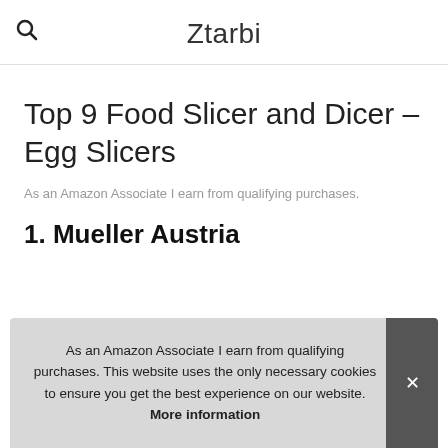Ztarbi
Top 9 Food Slicer and Dicer – Egg Slicers
As an Amazon Associate I earn from qualifying purchases.
1. Mueller Austria
As an Amazon Associate I earn from qualifying purchases. This website uses the only necessary cookies to ensure you get the best experience on our website. More information